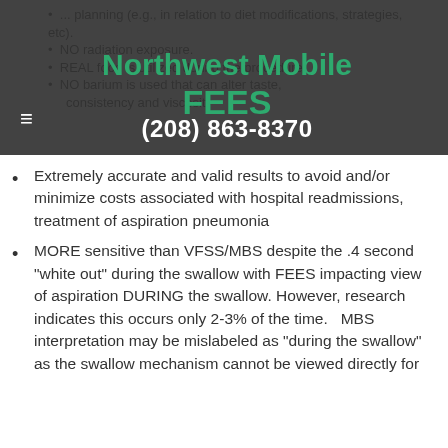Northwest Mobile FEES
(208) 863-8370
NO radiation exposure.
REAL food is utilized during the procedure
NO barium is used that can alter taste, consistency and viscosity
Extremely accurate and valid results to avoid and/or minimize costs associated with hospital readmissions, treatment of aspiration pneumonia
MORE sensitive than VFSS/MBS despite the .4 second "white out" during the swallow with FEES impacting view of aspiration DURING the swallow. However, research indicates this occurs only 2-3% of the time.   MBS interpretation may be mislabeled as "during the swallow" as the swallow mechanism cannot be viewed directly for accurate interpretation.